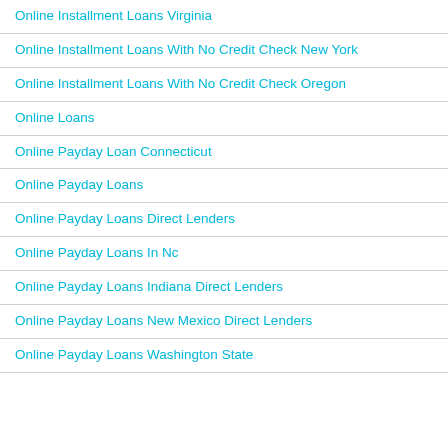Online Installment Loans Virginia
Online Installment Loans With No Credit Check New York
Online Installment Loans With No Credit Check Oregon
Online Loans
Online Payday Loan Connecticut
Online Payday Loans
Online Payday Loans Direct Lenders
Online Payday Loans In Nc
Online Payday Loans Indiana Direct Lenders
Online Payday Loans New Mexico Direct Lenders
Online Payday Loans Washington State